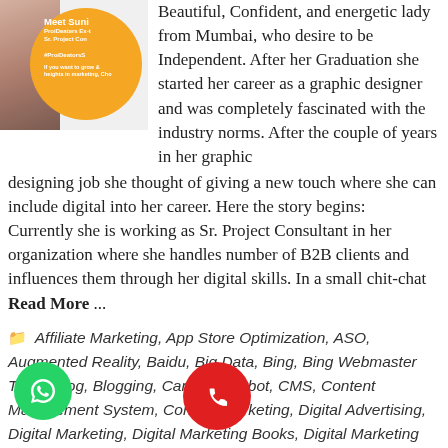[Figure (photo): Profile card image of Suni, ProiDeaters Sr. Project Consultant, with orange circular badge and hashtag #ProiDeatorsS, tagline about growing heights in marketing]
Beautiful, Confident, and energetic lady from Mumbai, who desire to be Independent. After her Graduation she started her career as a graphic designer and was completely fascinated with the industry norms. After the couple of years in her graphic designing job she thought of giving a new touch where she can include digital into her career. Here the story begins:   Currently she is working as Sr. Project Consultant in her organization where she handles number of B2B clients and influences them through her digital skills. In a small chit-chat Read More ...
Affiliate Marketing, App Store Optimization, ASO, Augmented Reality, Baidu, Big Data, Bing, Bing Webmaster Tools, Blog, Blogging, Canva, Chatbot, CMS, Content Management System, Content Marketing, Digital Advertising, Digital Marketing, Digital Marketing Books, Digital Marketing Campaign, Digital Marketing C__tion, Digital Marketing __se, Digital Marketing Training, __authority DA, Ecomm__ ail Marketing, Facebook, Fr__ce Digital Marketing, G__ Google, Google Ads, Google Adsense, Google Advertising, Google Adwords, Google Adwords